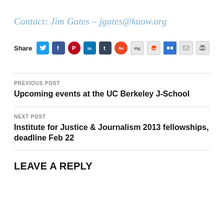Contact: Jim Gates – jgates@kuow.org
[Figure (infographic): Share icons row: Twitter, Facebook, Pinterest, LinkedIn, Tumblr, StumbleUpon, Digg, Reddit, Delicious, Email, Print]
PREVIOUS POST
Upcoming events at the UC Berkeley J-School
NEXT POST
Institute for Justice & Journalism 2013 fellowships, deadline Feb 22
LEAVE A REPLY